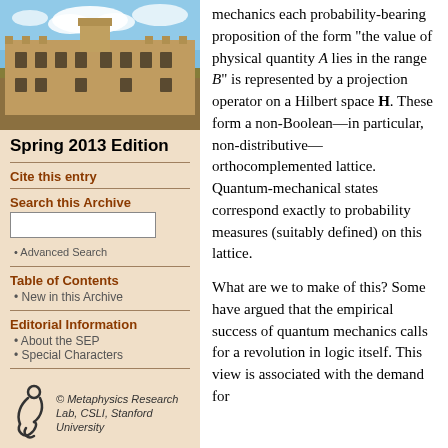[Figure (photo): Photograph of a historic stone university building (likely Stanford or Oxford) with blue sky and clouds]
Spring 2013 Edition
Cite this entry
Search this Archive
Advanced Search
Table of Contents
New in this Archive
Editorial Information
About the SEP
Special Characters
[Figure (logo): Metaphysics Research Lab, CSLI, Stanford University logo with stylized figure]
mechanics each probability-bearing proposition of the form "the value of physical quantity A lies in the range B" is represented by a projection operator on a Hilbert space H. These form a non-Boolean—in particular, non-distributive—orthocomplemented lattice. Quantum-mechanical states correspond exactly to probability measures (suitably defined) on this lattice.

What are we to make of this? Some have argued that the empirical success of quantum mechanics calls for a revolution in logic itself. This view is associated with the demand for